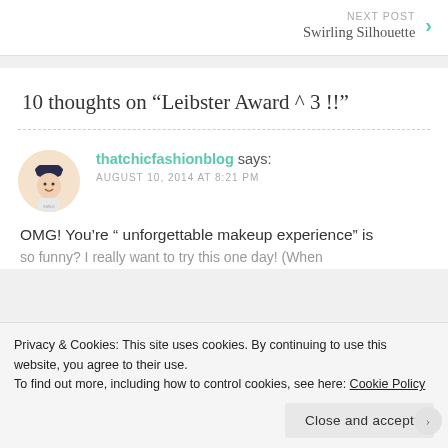NEXT POST
Swirling Silhouette
10 thoughts on “Leibster Award ^ 3 !!”
thatchicfashionblog says:
AUGUST 10, 2014 AT 8:21 PM
OMG! You’re “ unforgettable makeup experience” is so funny? I really want to try this one day! (When
Privacy & Cookies: This site uses cookies. By continuing to use this website, you agree to their use.
To find out more, including how to control cookies, see here: Cookie Policy
Close and accept